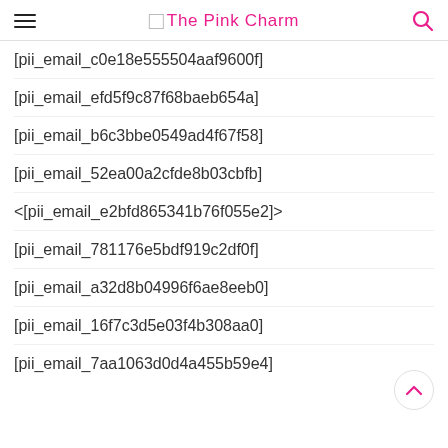The Pink Charm
[pii_email_c0e18e555504aaf9600f]
[pii_email_efd5f9c87f68baeb654a]
[pii_email_b6c3bbe0549ad4f67f58]
[pii_email_52ea00a2cfde8b03cbfb]
<[pii_email_e2bfd865341b76f055e2]>
[pii_email_781176e5bdf919c2df0f]
[pii_email_a32d8b04996f6ae8eeb0]
[pii_email_16f7c3d5e03f4b308aa0]
[pii_email_7aa1063d0d4a455b59e4]